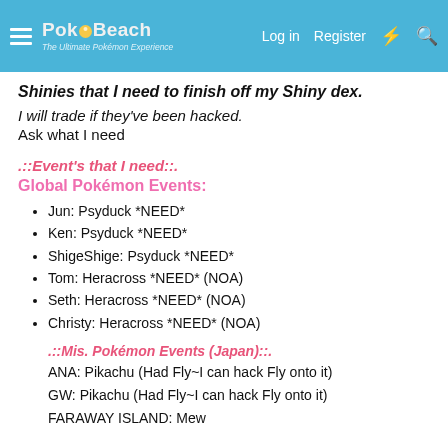PokéBeach — Log in Register
Shinies that I need to finish off my Shiny dex.
I will trade if they've been hacked.
Ask what I need
.::Event's that I need::.
Global Pokémon Events:
Jun: Psyduck *NEED*
Ken: Psyduck *NEED*
ShigeShige: Psyduck *NEED*
Tom: Heracross *NEED* (NOA)
Seth: Heracross *NEED* (NOA)
Christy: Heracross *NEED* (NOA)
.::Mis. Pokémon Events (Japan)::.
ANA: Pikachu (Had Fly~I can hack Fly onto it)
GW: Pikachu (Had Fly~I can hack Fly onto it)
FARAWAY ISLAND: Mew